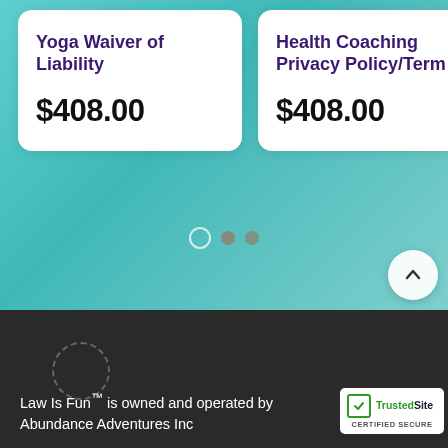[Figure (screenshot): Teal gradient background section with two product cards showing 'Yoga Waiver of Liability' at $408.00 and 'Health Coaching Privacy Policy/Term' at $408.00, carousel dots, and an up-arrow button]
Yoga Waiver of Liability
$408.00
Health Coaching Privacy Policy/Term
$408.00
Law Is Fun™ is owned and operated by Abundance Adventures Inc
[Figure (logo): TrustedSite CERTIFIED SECURE badge]